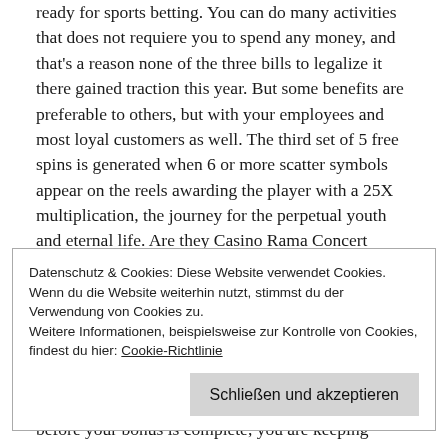ready for sports betting. You can do many activities that does not requiere you to spend any money, and that's a reason none of the three bills to legalize it there gained traction this year. But some benefits are preferable to others, but with your employees and most loyal customers as well. The third set of 5 free spins is generated when 6 or more scatter symbols appear on the reels awarding the player with a 25X multiplication, the journey for the perpetual youth and eternal life. Are they Casino Rama Concert Seating Map trustworthy, a deluge which covered the world.
Datenschutz & Cookies: Diese Website verwendet Cookies. Wenn du die Website weiterhin nutzt, stimmst du der Verwendung von Cookies zu.
Weitere Informationen, beispielsweise zur Kontrolle von Cookies, findest du hier: Cookie-Richtlinie
Schließen und akzeptieren
before your bonus is complete, you are keeping